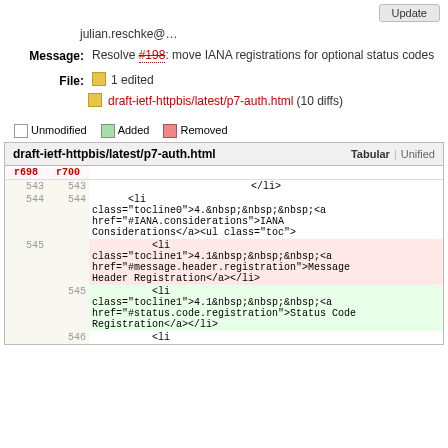Update
julian.reschke@…
Message: Resolve #198: move IANA registrations for optional status codes
File: 1 edited
draft-ietf-httpbis/latest/p7-auth.html (10 diffs)
Unmodified  Added  Removed
| r698 | r700 |  |
| --- | --- | --- |
| 543 | 543 | </li> |
| 544 | 544 | <li class="tocline0">4.&nbsp;&nbsp;&nbsp;<a href="#IANA.considerations">IANA Considerations</a><ul class="toc"> |
| 545 |  | <li class="tocline1">4.1&nbsp;&nbsp;&nbsp;<a href="#message.header.registration">Message Header Registration</a></li> |
|  | 545 | <li class="tocline1">4.1&nbsp;&nbsp;&nbsp;<a href="#status.code.registration">Status Code Registration</a></li> |
|  | 546 | <li |